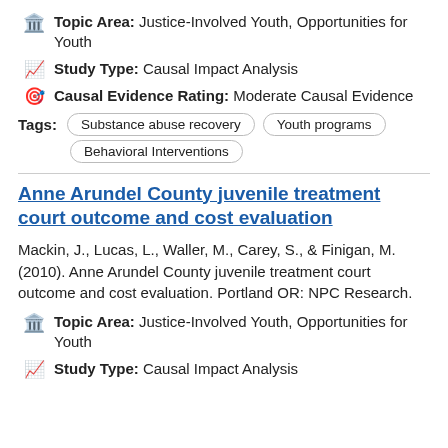Topic Area: Justice-Involved Youth, Opportunities for Youth
Study Type: Causal Impact Analysis
Causal Evidence Rating: Moderate Causal Evidence
Tags: Substance abuse recovery  Youth programs  Behavioral Interventions
Anne Arundel County juvenile treatment court outcome and cost evaluation
Mackin, J., Lucas, L., Waller, M., Carey, S., & Finigan, M. (2010). Anne Arundel County juvenile treatment court outcome and cost evaluation. Portland OR: NPC Research.
Topic Area: Justice-Involved Youth, Opportunities for Youth
Study Type: Causal Impact Analysis